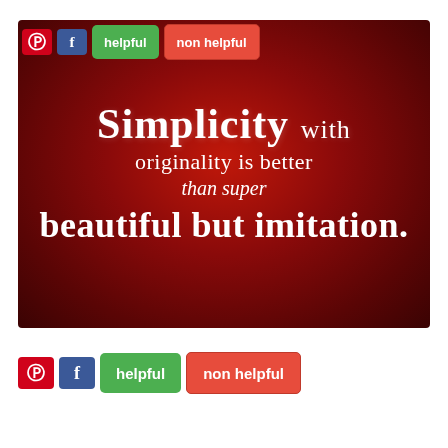[Figure (illustration): Red gradient inspirational quote card reading: 'Simplicity with originality is better than super beautiful but imitation.' White text on dark red radial gradient background.]
helpful | non helpful (social share buttons row at top)
helpful | non helpful (social share buttons row at bottom)